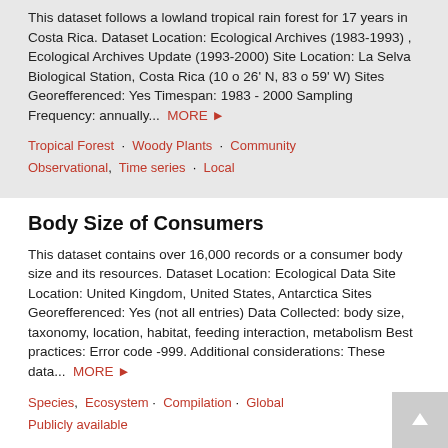This dataset follows a lowland tropical rain forest for 17 years in Costa Rica. Dataset Location: Ecological Archives (1983-1993) , Ecological Archives Update (1993-2000) Site Location: La Selva Biological Station, Costa Rica (10 o 26' N, 83 o 59' W) Sites Georefferenced: Yes Timespan: 1983 - 2000 Sampling Frequency: annually... MORE ▶
Tropical Forest · Woody Plants · Community · Observational, Time series · Local
Body Size of Consumers
This dataset contains over 16,000 records or a consumer body size and its resources. Dataset Location: Ecological Data Site Location: United Kingdom, United States, Antarctica Sites Georefferenced: Yes (not all entries) Data Collected: body size, taxonomy, location, habitat, feeding interaction, metabolism Best practices: Error code -999. Additional considerations: These data... MORE ▶
Species, Ecosystem · Compilation · Global · Publicly available